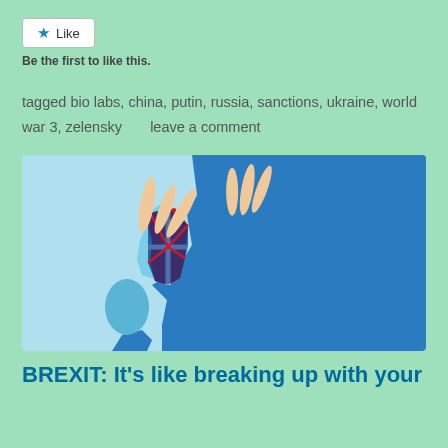Like
Be the first to like this.
tagged bio labs, china, putin, russia, sanctions, ukraine, world war 3, zelensky     leave a comment
[Figure (illustration): Brexit concept illustration showing a map of Europe in blue with a hand removing the UK depicted as a Union Jack puzzle piece from its position near continental Europe.]
BREXIT: It's like breaking up with your girlfriend for friendlier...